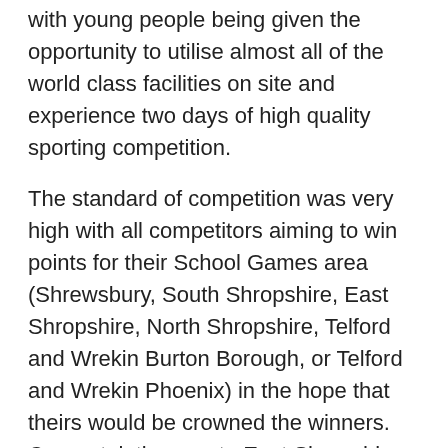with young people being given the opportunity to utilise almost all of the world class facilities on site and experience two days of high quality sporting competition.
The standard of competition was very high with all competitors aiming to win points for their School Games area (Shrewsbury, South Shropshire, East Shropshire, North Shropshire, Telford and Wrekin Burton Borough, or Telford and Wrekin Phoenix) in the hope that theirs would be crowned the winners. Congratulations go to East Shropshire who were winners on both the primary and secondary day.
In addition to the hundreds of competitors, there were also 130 outstanding young leaders at Lilleshall who